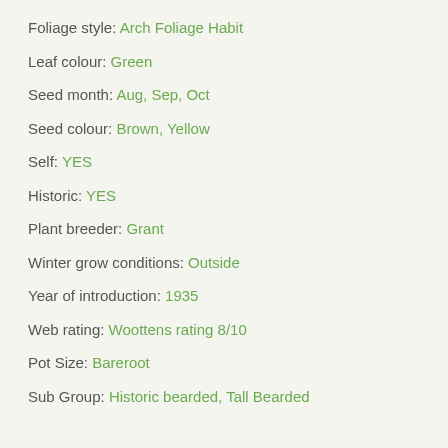Foliage style: Arch Foliage Habit
Leaf colour: Green
Seed month: Aug, Sep, Oct
Seed colour: Brown, Yellow
Self: YES
Historic: YES
Plant breeder: Grant
Winter grow conditions: Outside
Year of introduction: 1935
Web rating: Woottens rating 8/10
Pot Size: Bareroot
Sub Group: Historic bearded, Tall Bearded